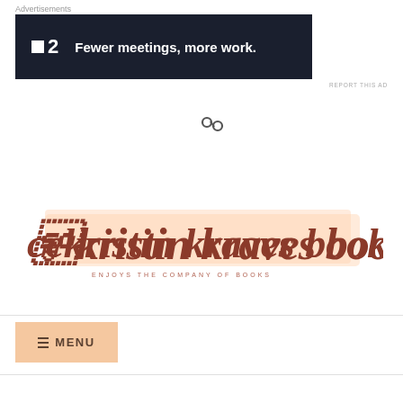Advertisements
[Figure (screenshot): Advertisement banner with dark navy background. Logo shows a small white square followed by '2', and text reads 'Fewer meetings, more work.']
[Figure (other): Chain link / share icon]
[Figure (logo): Kristin Kraves Books logo — cursive rose-gold script on a light peachy background highlight, with decorative curls, tagline reads 'ENJOYS THE COMPANY OF BOOKS']
MENU